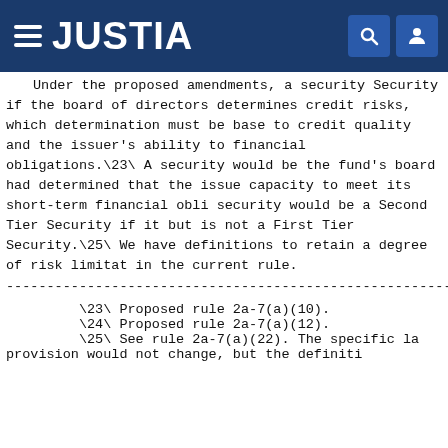JUSTIA
Under the proposed amendments, a security would be a First Tier Security if the board of directors determines that it presents minimal credit risks, which determination must be based on factors pertaining to credit quality and the issuer's ability to meet its short-term financial obligations.\23\ A security would be a First Tier Security if the fund's board had determined that the issuer had a strong capacity to meet its short-term financial obligations.\24\ A security would be a Second Tier Security if it presents minimal credit risk but is not a First Tier Security.\25\ We have modified these definitions to retain a degree of risk limitation that is contained in the current rule.
------------------------------------------------------------------------
\23\ Proposed rule 2a-7(a)(10).
\24\ Proposed rule 2a-7(a)(12).
\25\ See rule 2a-7(a)(22). The specific la provision would not change, but the definiti